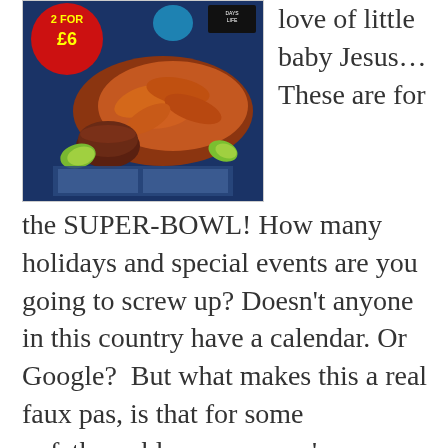[Figure (photo): Product photo of Buffalo chicken wings in a dark bowl with lime wedges, showing a '2 for £6' red circular price badge in the top left and 'Days Life' logo in top right corner. Dark blue/navy background packaging.]
love of little baby Jesus… These are for the SUPER-BOWL! How many holidays and special events are you going to screw up? Doesn't anyone in this country have a calendar. Or Google?  But what makes this a real faux pas, is that for some unfathomable reason, you've decided that the key ingredient, the thing that makes Buffalo chicken wings really special, is that they should be accompanied by a lime...